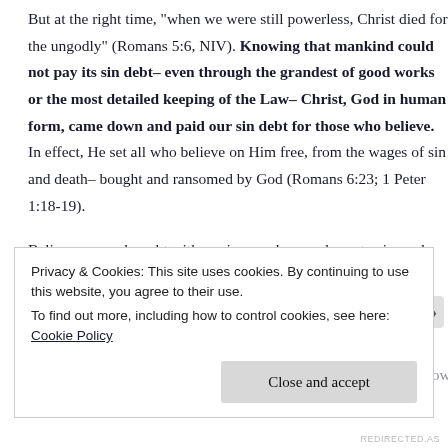But at the right time, "when we were still powerless, Christ died for the ungodly" (Romans 5:6, NIV). Knowing that mankind could not pay its sin debt– even through the grandest of good works or the most detailed keeping of the Law– Christ, God in human form, came down and paid our sin debt for those who believe. In effect, He set all who believe on Him free, from the wages of sin and death– bought and ransomed by God (Romans 6:23; 1 Peter 1:18-19).
Believers were bought with a price– no longer slaves to sin, and free to do as Christ commands us to. But isn't that just more drudging, joyless slavery? One can ask. This is the beautiful Truth: No. Instead of
"slaving" for salvation, lost and floundering to be saved by one's own
Privacy & Cookies: This site uses cookies. By continuing to use this website, you agree to their use.
To find out more, including how to control cookies, see here: Cookie Policy